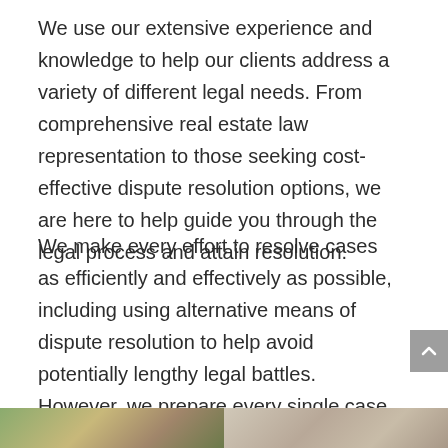We use our extensive experience and knowledge to help our clients address a variety of different legal needs. From comprehensive real estate law representation to those seeking cost-effective dispute resolution options, we are here to help guide you through the legal process and attain resolution.
We make every effort to resolve cases as efficiently and effectively as possible, including using alternative means of dispute resolution to help avoid potentially lengthy legal battles. However, we prepare every single case as if it will go to trial or arbitration (and do so, when necessary), so you can be assured that we will zealously fight for your rights and interests every step of the way.
[Figure (photo): Partial photo strip at the bottom of the page showing two images side by side — left appears to be an outdoor/nature scene with greenery, right appears to be an interior or architectural scene.]